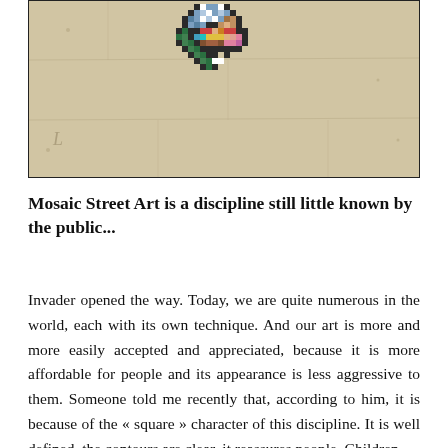[Figure (photo): Pixel art mosaic of a colorful character (resembling a video game sprite) affixed to a weathered stone/concrete wall. The mosaic depicts a crouching figure made of colored tiles including blue, green, red, yellow, brown, pink, white, and black.]
Mosaic Street Art is a discipline still little known by the public...
Invader opened the way. Today, we are quite numerous in the world, each with its own technique. And our art is more and more easily accepted and appreciated, because it is more affordable for people and its appearance is less aggressive to them. Someone told me recently that, according to him, it is because of the « square » character of this discipline. It is well defined, the contours are clear, it reassures people. Children